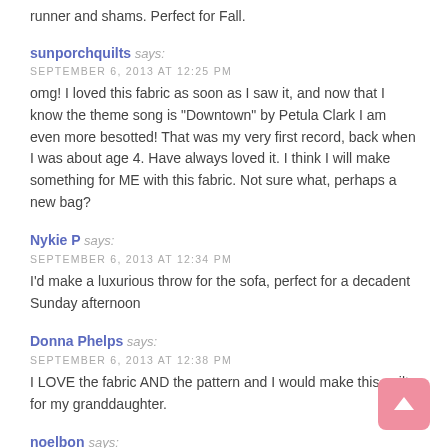runner and shams. Perfect for Fall.
sunporchquilts says:
SEPTEMBER 6, 2013 AT 12:25 PM
omg! I loved this fabric as soon as I saw it, and now that I know the theme song is "Downtown" by Petula Clark I am even more besotted! That was my very first record, back when I was about age 4. Have always loved it. I think I will make something for ME with this fabric. Not sure what, perhaps a new bag?
Nykie P says:
SEPTEMBER 6, 2013 AT 12:34 PM
I'd make a luxurious throw for the sofa, perfect for a decadent Sunday afternoon
Donna Phelps says:
SEPTEMBER 6, 2013 AT 12:38 PM
I LOVE the fabric AND the pattern and I would make this quilt for my granddaughter.
noelbon says: